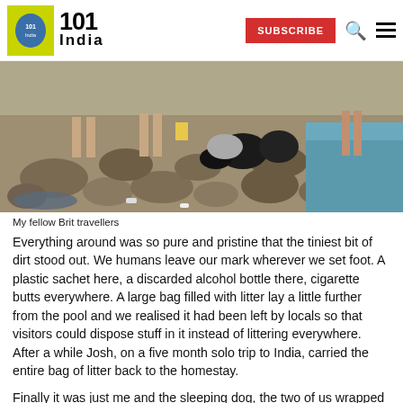101India
[Figure (photo): People standing on rocky shoreline near water with garbage bags and litter scattered on the rocks]
My fellow Brit travellers
Everything around was so pure and pristine that the tiniest bit of dirt stood out. We humans leave our mark wherever we set foot. A plastic sachet here, a discarded alcohol bottle there, cigarette butts everywhere. A large bag filled with litter lay a little further from the pool and we realised it had been left by locals so that visitors could dispose stuff in it instead of littering everywhere. After a while Josh, on a five month solo trip to India, carried the entire bag of litter back to the homestay.
Finally it was just me and the sleeping dog, the two of us wrapped in a ceremonial feeling of solitude. With no signs of civilisation, the place truly looked like heaven, like Adam without Eve. I slipped out of my clothes, becoming free from all of society's exigencies.